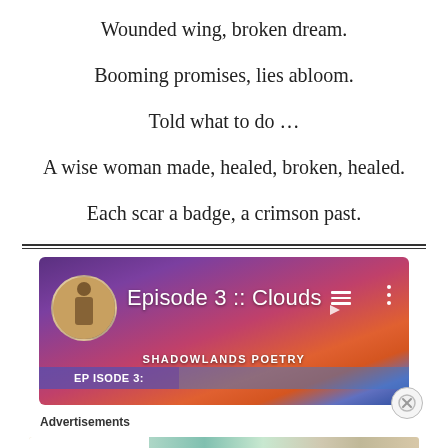Wounded wing, broken dream.
Booming promises, lies abloom.
Told what to do …
A wise woman made, healed, broken, healed.
Each scar a badge, a crimson past.
[Figure (screenshot): YouTube/podcast embed thumbnail for 'Episode 3 :: Clouds' by Shadowlands Poetry, showing a silhouette figure, purple-red sunset background, playlist and options icons.]
Advertisements
[Figure (screenshot): WordPress VIP advertisement banner with 'Learn more' button and colorful card collage background.]